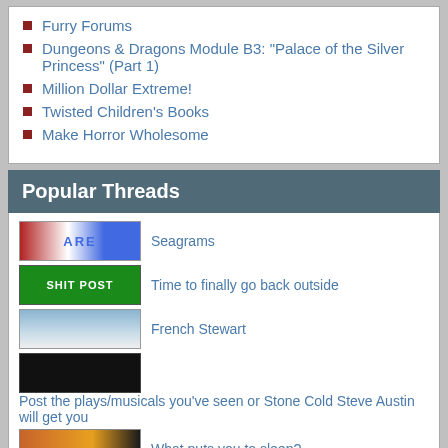Furry Forums
Dungeons & Dragons Module B3: "Palace of the Silver Princess" (Part 1)
Million Dollar Extreme!
Twisted Children's Books
Make Horror Wholesome
Popular Threads
Seagrams
Time to finally go back outside
French Stewart
Post the plays/musicals you've seen or Stone Cold Steve Austin will get you
What puts you to sleep?
Grover > Elmo
Team Smugworth Or Henry Taintmsith or w/e
What's the deal with that "leap tall buildings in a single bound" shit?
Random Articles